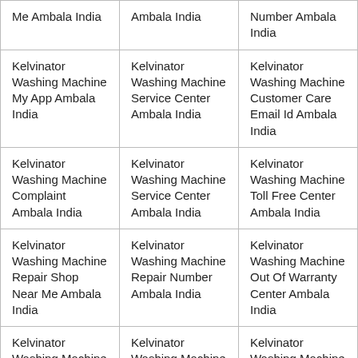| Me Ambala India | Ambala India | Number Ambala India |
| Kelvinator Washing Machine My App Ambala India | Kelvinator Washing Machine Service Center Ambala India | Kelvinator Washing Machine Customer Care Email Id Ambala India |
| Kelvinator Washing Machine Complaint Ambala India | Kelvinator Washing Machine Service Center Ambala India | Kelvinator Washing Machine Toll Free Center Ambala India |
| Kelvinator Washing Machine Repair Shop Near Me Ambala India | Kelvinator Washing Machine Repair Number Ambala India | Kelvinator Washing Machine Out Of Warranty Center Ambala India |
| Kelvinator Washing Machine | Kelvinator Washing Machine | Kelvinator Washing Machine |